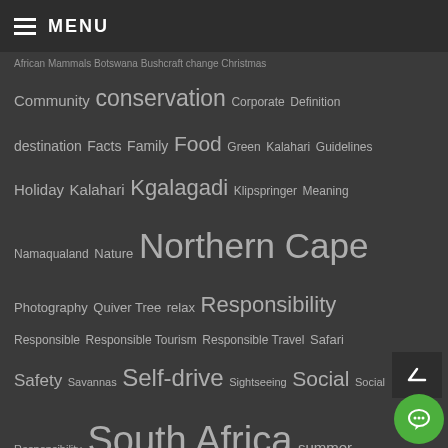MENU
African Mammals Botswana Bushcraft change Christmas Community conservation Corporate Definition destination Facts Family Food Green Kalahari Guidelines Holiday Kalahari Kgalagadi Klipspringer Meaning Namaqualand Nature Northern Cape Photography Quiver Tree relax Responsibility Responsible Responsible Tourism Responsible Travel Safari Safety Savannas Self-drive Sightseeing Social Social Responsibility South Africa summer Thuru Lodge Tips travel Wild Coast Wildlife